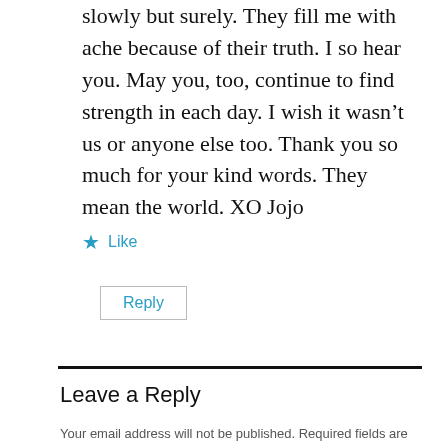slowly but surely. They fill me with ache because of their truth. I so hear you. May you, too, continue to find strength in each day. I wish it wasn't us or anyone else too. Thank you so much for your kind words. They mean the world. XO Jojo
★ Like
Reply
Leave a Reply
Your email address will not be published. Required fields are marked *